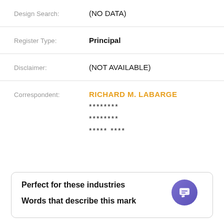Design Search: (NO DATA)
Register Type: Principal
Disclaimer: (NOT AVAILABLE)
Correspondent: RICHARD M. LABARGE ******** ******** ***** ****
Perfect for these industries
Words that describe this mark